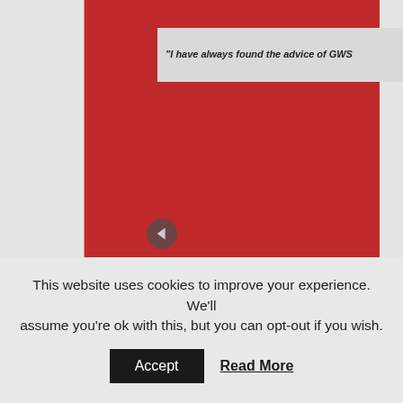[Figure (screenshot): Website screenshot showing a red block with a quote carousel. A light grey quote box overlays the top of the red block with partial text: '"I have always found the advice of GWS'. Below the red block is a dark/charcoal section with 'Contact Us' text in light grey and a map pin icon. A circular back-arrow button is visible on the left side of the red block.]
This website uses cookies to improve your experience. We'll assume you're ok with this, but you can opt-out if you wish.
Accept
Read More